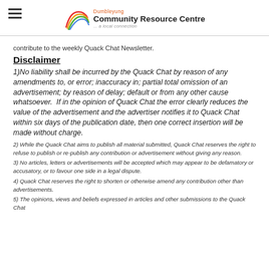Dumbleyung Community Resource Centre ... a local connection
contribute to the weekly Quack Chat Newsletter.
Disclaimer
1)No liability shall be incurred by the Quack Chat by reason of any amendments to, or error; inaccuracy in; partial total omission of an advertisement; by reason of delay; default or from any other cause whatsoever. If in the opinion of Quack Chat the error clearly reduces the value of the advertisement and the advertiser notifies it to Quack Chat within six days of the publication date, then one correct insertion will be made without charge.
2) While the Quack Chat aims to publish all material submitted, Quack Chat reserves the right to refuse to publish or re-publish any contribution or advertisement without giving any reason.
3) No articles, letters or advertisements will be accepted which may appear to be defamatory or accusatory, or to favour one side in a legal dispute.
4) Quack Chat reserves the right to shorten or otherwise amend any contribution other than advertisements.
5) The opinions, views and beliefs expressed in articles and other submissions to the Quack Chat